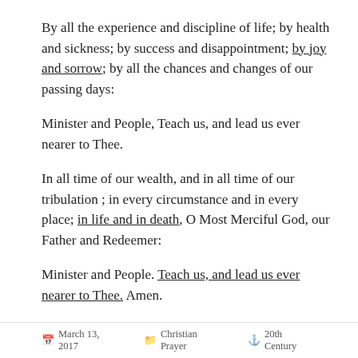By all the experience and discipline of life; by health and sickness; by success and disappointment; by joy and sorrow; by all the chances and changes of our passing days:
Minister and People, Teach us, and lead us ever nearer to Thee.
In all time of our wealth, and in all time of our tribulation ; in every circumstance and in every place; in life and in death, O Most Merciful God, our Father and Redeemer:
Minister and People. Teach us, and lead us ever nearer to Thee. Amen.
March 13, 2017   Christian Prayer   20th Century